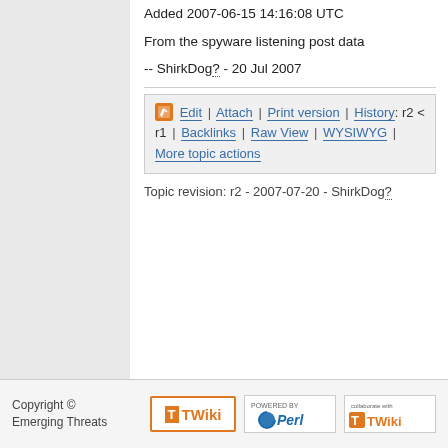Added 2007-06-15 14:16:08 UTC
From the spyware listening post data
-- ShirkDog? - 20 Jul 2007
Edit | Attach | Print version | History: r2 < r1 | Backlinks | Raw View | WYSIWYG | More topic actions
Topic revision: r2 - 2007-07-20 - ShirkDog?
Copyright © Emerging Threats